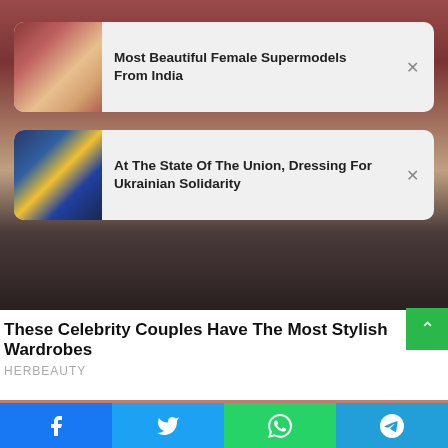[Figure (screenshot): Background photo of celebrities at an event, blurred/dark reddish tones]
Most Beautiful Female Supermodels From India
At The State Of The Union, Dressing For Ukrainian Solidarity
These Celebrity Couples Have The Most Stylish Wardrobes
HERBEAUTY
[Figure (photo): Bottom photo strip showing partial image]
Facebook share button
Twitter share button
WhatsApp share button
Telegram share button